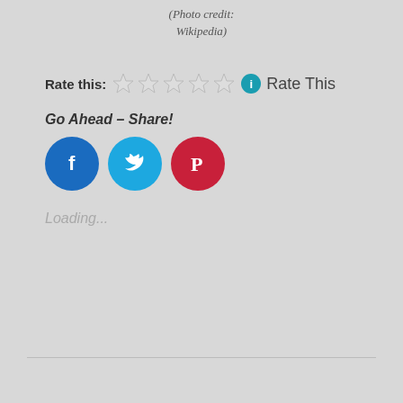(Photo credit: Wikipedia)
Rate this: ☆☆☆☆☆ ℹ Rate This
Go Ahead – Share!
[Figure (other): Social share buttons: Facebook (blue circle), Twitter (cyan circle), Pinterest (red circle)]
Loading...